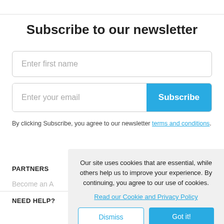Subscribe to our newsletter
Enter first name
Enter your email
Subscribe
By clicking Subscribe, you agree to our newsletter terms and conditions.
PARTNERS
Become an A
NEED HELP?
Our site uses cookies that are essential, while others help us to improve your experience. By continuing, you agree to our use of cookies.
Read our Cookie and Privacy Policy
Dismiss
Got it!